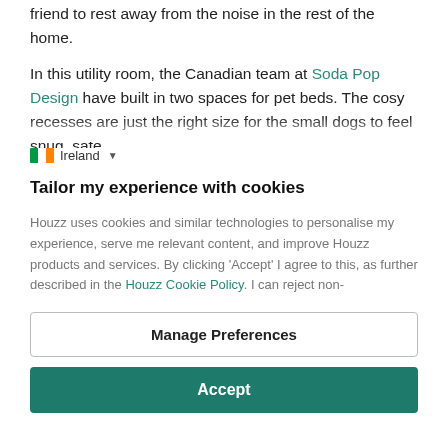friend to rest away from the noise in the rest of the home.
In this utility room, the Canadian team at Soda Pop Design have built in two spaces for pet beds. The cosy recesses are just the right size for the small dogs to feel snug, safe
Ireland
Tailor my experience with cookies
Houzz uses cookies and similar technologies to personalise my experience, serve me relevant content, and improve Houzz products and services. By clicking 'Accept' I agree to this, as further described in the Houzz Cookie Policy. I can reject non-
Manage Preferences
Accept